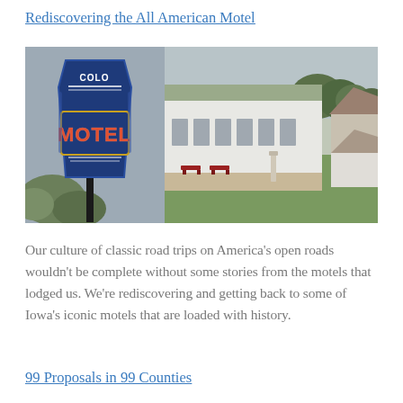Rediscovering the All American Motel
[Figure (photo): Two side-by-side photos: left shows a vintage neon 'Colo Motel' sign with blue background and red lettering against a cloudy sky with trees; right shows a row of white motel cabins with a sidewalk, red benches, green lawn, and trees in background.]
Our culture of classic road trips on America's open roads wouldn't be complete without some stories from the motels that lodged us. We're rediscovering and getting back to some of Iowa's iconic motels that are loaded with history.
99 Proposals in 99 Counties